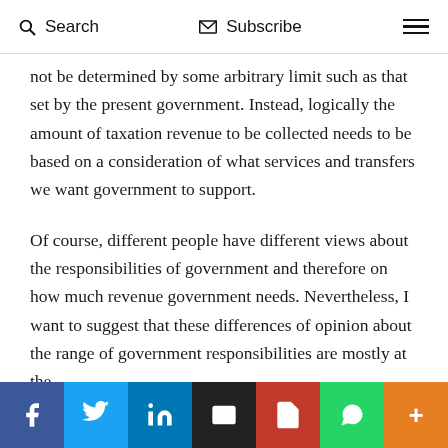Search  Subscribe  ☰
not be determined by some arbitrary limit such as that set by the present government. Instead, logically the amount of taxation revenue to be collected needs to be based on a consideration of what services and transfers we want government to support.
Of course, different people have different views about the responsibilities of government and therefore on how much revenue government needs. Nevertheless, I want to suggest that these differences of opinion about the range of government responsibilities are mostly at the